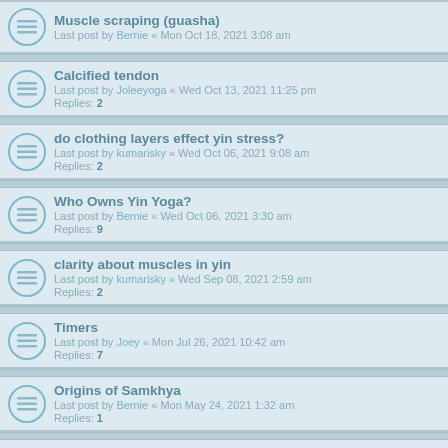Muscle scraping (guasha) — Last post by Bernie « Mon Oct 18, 2021 3:08 am
Calcified tendon — Last post by Joleeyoga « Wed Oct 13, 2021 11:25 pm — Replies: 2
do clothing layers effect yin stress? — Last post by kumarisky « Wed Oct 06, 2021 9:08 am — Replies: 2
Who Owns Yin Yoga? — Last post by Bernie « Wed Oct 06, 2021 3:30 am — Replies: 9
clarity about muscles in yin — Last post by kumarisky « Wed Sep 08, 2021 2:59 am — Replies: 2
Timers — Last post by Joey « Mon Jul 26, 2021 10:42 am — Replies: 7
Origins of Samkhya — Last post by Bernie « Mon May 24, 2021 1:32 am — Replies: 1
Abnormal flexibility — Last post by Skyland2001 « Sat May 22, 2021 3:10 pm — Replies: 3
A deep emotional edge — Last post by Bernie « Mon May 03, 2021 12:53 am — Replies: 1
A question about Femoral version — Last post by Bernie « Mon Apr 19, 2021 5:21 am